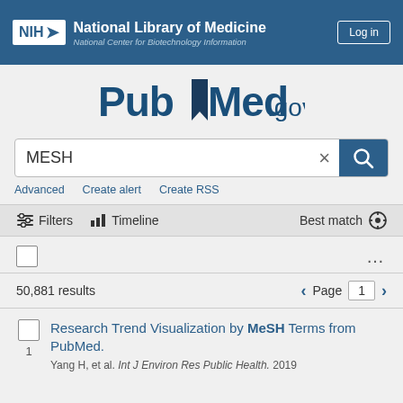NIH National Library of Medicine National Center for Biotechnology Information
[Figure (logo): PubMed.gov logo with blue bookmark icon]
MESH
Advanced   Create alert   Create RSS
Filters   Timeline   Best match
50,881 results   Page 1
Research Trend Visualization by MeSH Terms from PubMed.
Yang H, et al. Int J Environ Res Public Health. 2019